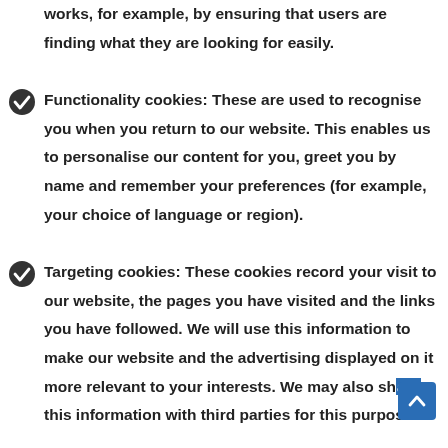works, for example, by ensuring that users are finding what they are looking for easily.
Functionality cookies: These are used to recognise you when you return to our website. This enables us to personalise our content for you, greet you by name and remember your preferences (for example, your choice of language or region).
Targeting cookies: These cookies record your visit to our website, the pages you have visited and the links you have followed. We will use this information to make our website and the advertising displayed on it more relevant to your interests. We may also share this information with third parties for this purpose.